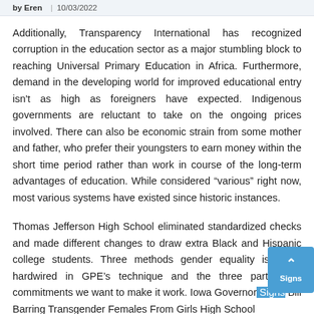by Eren | 10/03/2022
Additionally, Transparency International has recognized corruption in the education sector as a major stumbling block to reaching Universal Primary Education in Africa. Furthermore, demand in the developing world for improved educational entry isn't as high as foreigners have expected. Indigenous governments are reluctant to take on the ongoing prices involved. There can also be economic strain from some mother and father, who prefer their youngsters to earn money within the short time period rather than work in course of the long-term advantages of education. While considered “various” right now, most various systems have existed since historic instances.
Thomas Jefferson High School eliminated standardized checks and made different changes to draw extra Black and Hispanic college students. Three methods gender equality is being hardwired in GPE’s technique and the three partnership commitments we want to make it work. Iowa Governor Signs Bill Barring Transgender Females From Girls High School